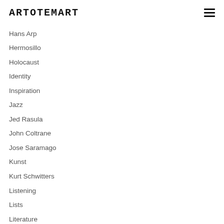ARTOTEMART
Hans Arp
Hermosillo
Holocaust
Identity
Inspiration
Jazz
Jed Rasula
John Coltrane
Jose Saramago
Kunst
Kurt Schwitters
Listening
Lists
Literature
Man Ray